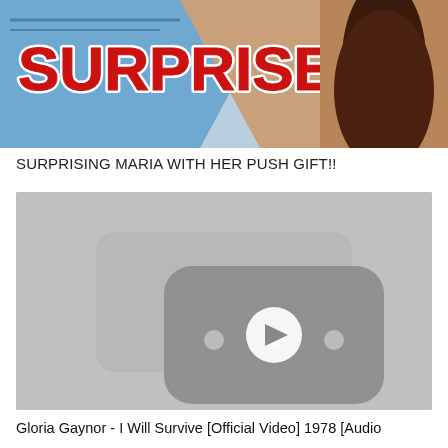[Figure (screenshot): YouTube video thumbnail showing a woman with long dark hair in a brown outfit against a blue and white background with red bold text reading SURPRISE!!]
SURPRISING MARIA WITH HER PUSH GIFT!!
[Figure (screenshot): YouTube video player thumbnail showing a grey background with a YouTube play button icon in the center]
Gloria Gaynor - I Will Survive [Official Video] 1978 [Audio